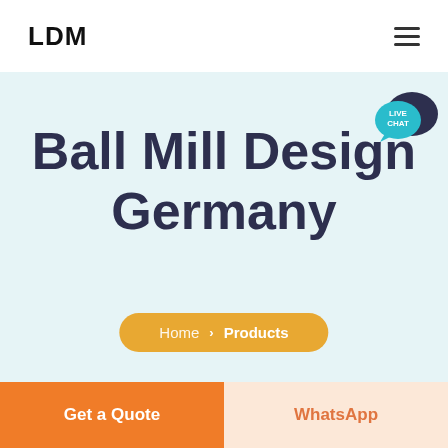LDM
[Figure (screenshot): Live chat button with teal speech bubble and dark blue chat icon overlay in top right]
Ball Mill Design Germany
Home > Products
Get a Quote
WhatsApp